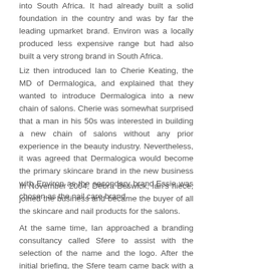into South Africa. It had already built a solid foundation in the country and was by far the leading upmarket brand. Environ was a locally produced less expensive range but had also built a very strong brand in South Africa.
Liz then introduced Ian to Cherie Keating, the MD of Dermalogica, and explained that they wanted to introduce Dermalogica into a new chain of salons. Cherie was somewhat surprised that a man in his 50s was interested in building a new chain of salons without any prior experience in the beauty industry. Nevertheless, it was agreed that Dermalogica would become the primary skincare brand in the new business with Environ as the secondary brand.Essie was chosen as the nail care brand.
In November 2004, Debra Beswick, Ian's niece, joined the business and became the buyer of all the skincare and nail products for the salons.
At the same time, Ian approached a branding consultancy called Sfere to assist with the selection of the name and the logo. After the initial briefing, the Sfere team came back with a list of names.